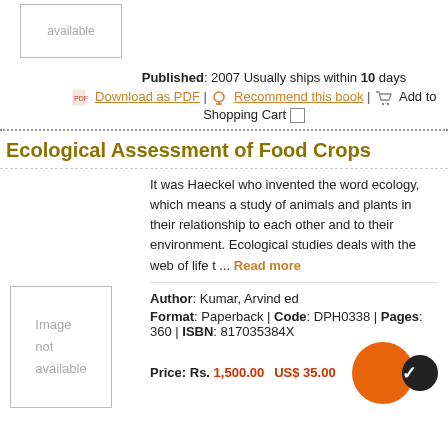[Figure (illustration): Book cover image placeholder showing 'available' text, partially cut off at top]
Published: 2007 Usually ships within 10 days
Download as PDF | Recommend this book | Add to Shopping Cart
Ecological Assessment of Food Crops
It was Haeckel who invented the word ecology, which means a study of animals and plants in their relationship to each other and to their environment. Ecological studies deals with the web of life t ... Read more
Author: Kumar, Arvind ed
Format: Paperback | Code: DPH0338 | Pages: 360 | ISBN: 817035384X
Price: Rs. 1,500.00   US$ 35.00
[Figure (illustration): Book cover image placeholder labeled 'Image not available']